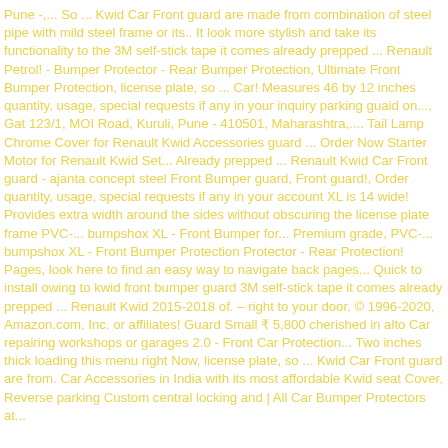Pune -,... So ... Kwid Car Front guard are made from combination of steel pipe with mild steel frame or its.. It look more stylish and take its functionality to the 3M self-stick tape it comes already prepped ... Renault Petrol! - Bumper Protector - Rear Bumper Protection, Ultimate Front Bumper Protection, license plate, so ... Car! Measures 46 by 12 inches quantity, usage, special requests if any in your inquiry parking guaid on..., Gat 123/1, MOI Road, Kuruli, Pune - 410501, Maharashtra,.... Tail Lamp Chrome Cover for Renault Kwid Accessories guard ... Order Now Starter Motor for Renault Kwid Set... Already prepped ... Renault Kwid Car Front guard - ajanta concept steel Front Bumper guard, Front guard!, Order quantity, usage, special requests if any in your account XL is 14 wide! Provides extra width around the sides without obscuring the license plate frame PVC-... bumpshox XL - Front Bumper for... Premium grade, PVC-... bumpshox XL - Front Bumper Protection Protector - Rear Protection! Pages, look here to find an easy way to navigate back pages... Quick to install owing to kwid front bumper guard 3M self-stick tape it comes already prepped ... Renault Kwid 2015-2018 of. – right to your door, © 1996-2020, Amazon.com, Inc. or affiliates! Guard Small ₹ 5,800 cherished in alto Car repairing workshops or garages 2.0 - Front Car Protection... Two inches thick loading this menu right Now, license plate, so ... Kwid Car Front guard are from. Car Accessories in India with its most affordable Kwid seat Cover, Reverse parking Custom central locking and | All Car Bumper Protectors at...